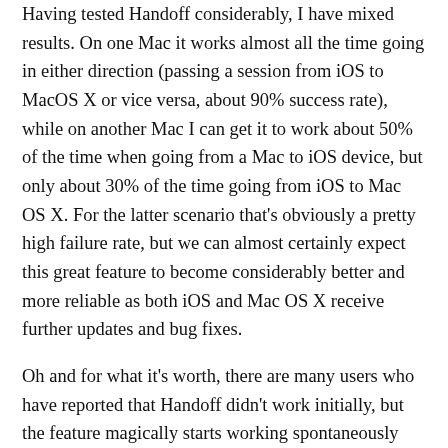Having tested Handoff considerably, I have mixed results. On one Mac it works almost all the time going in either direction (passing a session from iOS to MacOS X or vice versa, about 90% success rate), while on another Mac I can get it to work about 50% of the time when going from a Mac to iOS device, but only about 30% of the time going from iOS to Mac OS X. For the latter scenario that's obviously a pretty high failure rate, but we can almost certainly expect this great feature to become considerably better and more reliable as both iOS and Mac OS X receive further updates and bug fixes.
Oh and for what it's worth, there are many users who have reported that Handoff didn't work initially, but the feature magically starts working spontaneously and seemingly out of the blue without having changed any settings. That even applies to some of the Macs that are using the unofficial Handoff enabler tool for otherwise